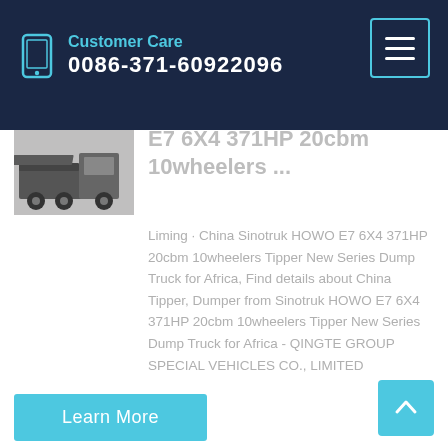Customer Care 0086-371-60922096
[Figure (photo): Truck/dump truck product image thumbnail]
E7 6X4 371HP 20cbm 10wheelers ...
Liming · China Sinotruk HOWO E7 6X4 371HP 20cbm 10wheelers Tipper New Series Dump Truck for Africa, Find details about China Tipper, Dumper from Sinotruk HOWO E7 6X4 371HP 20cbm 10wheelers Tipper New Series Dump Truck for Africa - QINGTE GROUP SPECIAL VEHICLES CO., LIMITED
Learn More